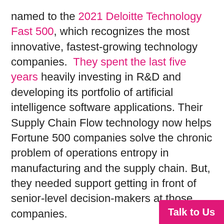named to the 2021 Deloitte Technology Fast 500, which recognizes the most innovative, fastest-growing technology companies. They spent the last five years heavily investing in R&D and developing its portfolio of artificial intelligence software applications. Their Supply Chain Flow technology now helps Fortune 500 companies solve the chronic problem of operations entropy in manufacturing and the supply chain. But, they needed support getting in front of senior-level decision-makers at those companies.
That's where paid social media advertising comes into play.
They knew their audience's basic traits – job titles, seniority level, and company – which gave us a great starting point. But they didn't kno...